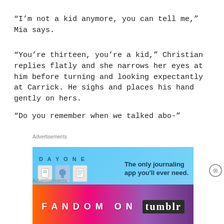“I’m not a kid anymore, you can tell me,” Mia says.
“You’re thirteen, you’re a kid,” Christian replies flatly and she narrows her eyes at him before turning and looking expectantly at Carrick. He sighs and places his hand gently on hers.
“Do you remember when we talked abo-”
Advertisements
[Figure (illustration): DAY ONE journaling app advertisement with blue background, app icons, and text 'The only journaling app you'll ever need.']
Advertisements
[Figure (illustration): FANDOM ON tumblr advertisement with colorful gradient background in orange, pink, and purple with white text.]